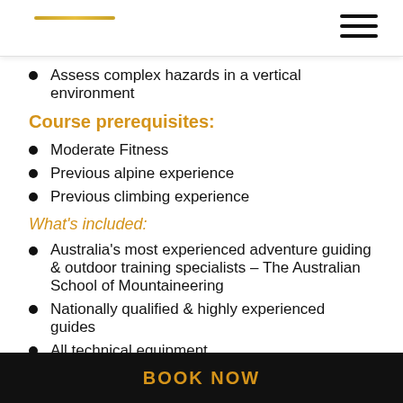[Logo / navigation bar]
Assess complex hazards in a vertical environment
Course prerequisites:
Moderate Fitness
Previous alpine experience
Previous climbing experience
What's included:
Australia's most experienced adventure guiding & outdoor training specialists – The Australian School of Mountaineering
Nationally qualified & highly experienced guides
All technical equipment
BOOK NOW